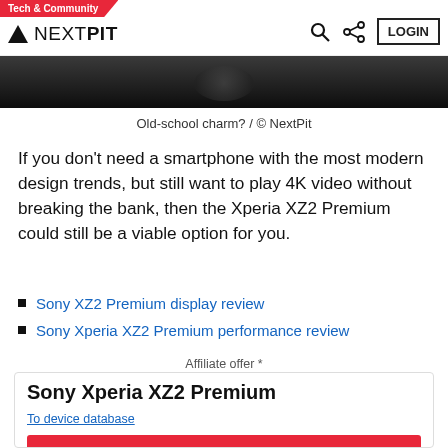Tech & Community | NEXTPIT
[Figure (photo): Dark background image, partial view of a phone or device in low light]
Old-school charm? / © NextPit
If you don't need a smartphone with the most modern design trends, but still want to play 4K video without breaking the bank, then the Xperia XZ2 Premium could still be a viable option for you.
Sony XZ2 Premium display review
Sony Xperia XZ2 Premium performance review
Affiliate offer *
Sony Xperia XZ2 Premium
To device database
Check Offer (Amazon)